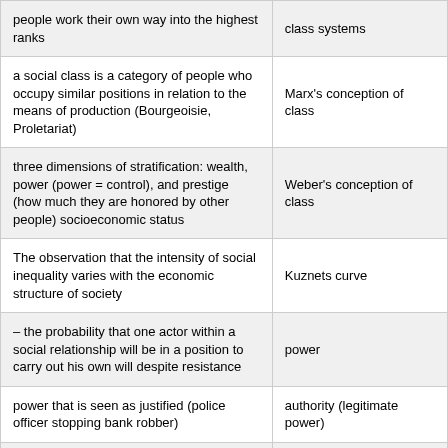| people work their own way into the highest ranks | class systems |
| a social class is a category of people who occupy similar positions in relation to the means of production (Bourgeoisie, Proletariat) | Marx's conception of class |
| three dimensions of stratification: wealth, power (power = control), and prestige (how much they are honored by other people) socioeconomic status | Weber's conception of class |
| The observation that the intensity of social inequality varies with the economic structure of society | Kuznets curve |
| – the probability that one actor within a social relationship will be in a position to carry out his own will despite resistance | power |
| power that is seen as justified (police officer stopping bank robber) | authority (legitimate power) |
| The degree to which people have social honor (people that have different jobs have different amounts of honor) | status and prestige |